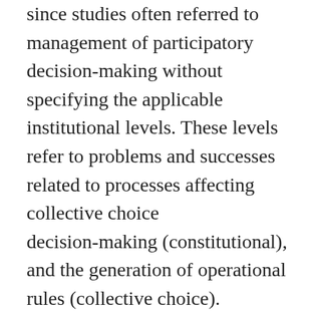since studies often referred to management of participatory decision-making without specifying the applicable institutional levels. These levels refer to problems and successes related to processes affecting collective choice decision-making (constitutional), and the generation of operational rules (collective choice). Operational level problems orientations and definitions of successes relate to the interaction among individuals and their environments in light of internal and external incentives, and the operational rules influencing these interactions (Ostrom 2005). We further categorized codes that captured the benefits derived from interactions at the operational level (socio-economic benefits) and temporal dimensions (functional stability). In contrast to an